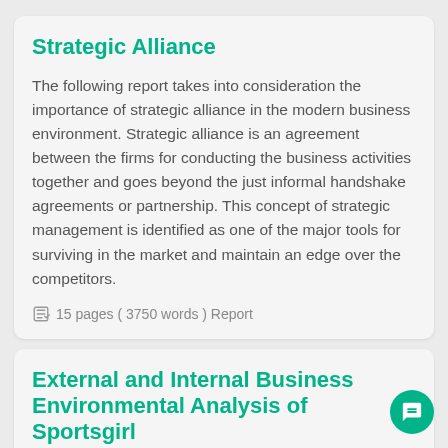Strategic Alliance
The following report takes into consideration the importance of strategic alliance in the modern business environment. Strategic alliance is an agreement between the firms for conducting the business activities together and goes beyond the just informal handshake agreements or partnership. This concept of strategic management is identified as one of the major tools for surviving in the market and maintain an edge over the competitors.
15 pages ( 3750 words ) Report
External and Internal Business Environmental Analysis of Sportsgirl
The following report has analysed the external business environment of an Australian based women apparel...